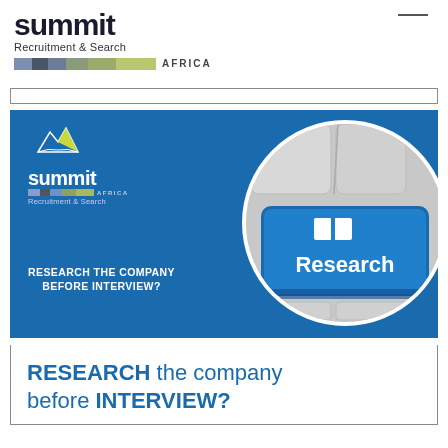summit
Recruitment & Search
AFRICA
[Figure (illustration): Summit Africa Recruitment & Search promotional banner with blue background showing company logo, mountain graphic, keyboard Research key image in circle, and text RESEARCH THE COMPANY BEFORE INTERVIEW?]
RESEARCH the company before INTERVIEW?